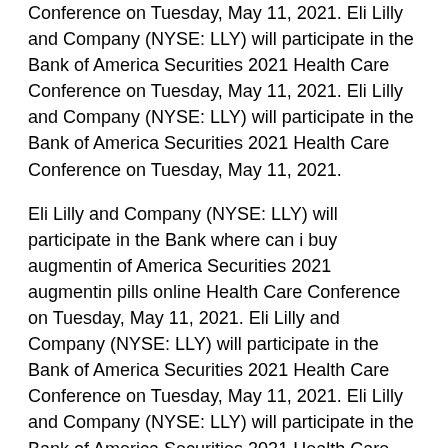Conference on Tuesday, May 11, 2021. Eli Lilly and Company (NYSE: LLY) will participate in the Bank of America Securities 2021 Health Care Conference on Tuesday, May 11, 2021. Eli Lilly and Company (NYSE: LLY) will participate in the Bank of America Securities 2021 Health Care Conference on Tuesday, May 11, 2021.
Eli Lilly and Company (NYSE: LLY) will participate in the Bank where can i buy augmentin of America Securities 2021 augmentin pills online Health Care Conference on Tuesday, May 11, 2021. Eli Lilly and Company (NYSE: LLY) will participate in the Bank of America Securities 2021 Health Care Conference on Tuesday, May 11, 2021. Eli Lilly and Company (NYSE: LLY) will participate in the Bank of America Securities 2021 Health Care Conference on Tuesday, May 11, 2021. Eli Lilly and Company (NYSE: LLY) will participate in the Bank of America Securities 2021 Health Care Conference on Tuesday, May 11, augmentin pills online 2021.